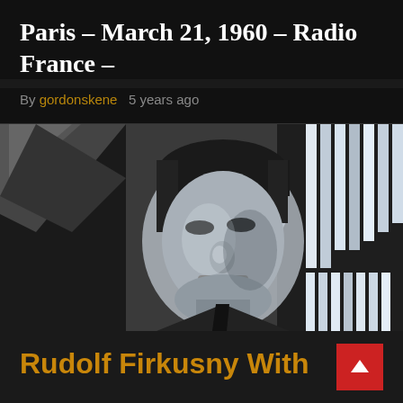Paris – March 21, 1960 – Radio France –
By gordonskene   5 years ago
[Figure (photo): Black and white photograph of Rudolf Firkusny, a man in a suit with short hair, looking downward, with piano keys visible in the background]
Rudolf Firkusny With